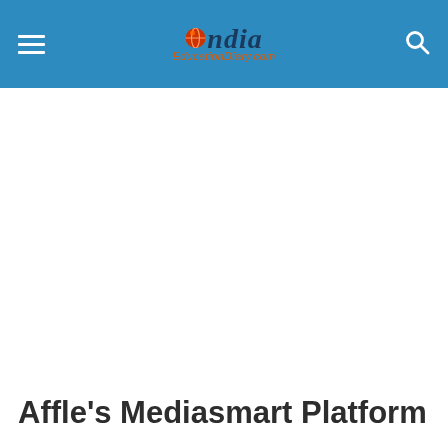India EducationDiary.com
Affle's Mediasmart Platform